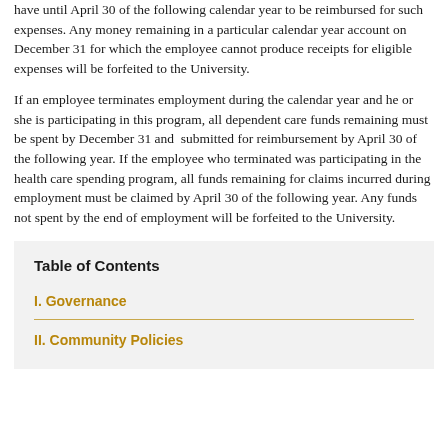have until April 30 of the following calendar year to be reimbursed for such expenses. Any money remaining in a particular calendar year account on December 31 for which the employee cannot produce receipts for eligible expenses will be forfeited to the University.
If an employee terminates employment during the calendar year and he or she is participating in this program, all dependent care funds remaining must be spent by December 31 and submitted for reimbursement by April 30 of the following year. If the employee who terminated was participating in the health care spending program, all funds remaining for claims incurred during employment must be claimed by April 30 of the following year. Any funds not spent by the end of employment will be forfeited to the University.
Table of Contents
I. Governance
II. Community Policies